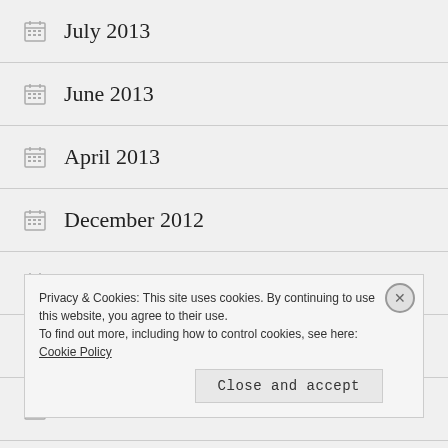July 2013
June 2013
April 2013
December 2012
June 2012
May 2012
November 2011
Privacy & Cookies: This site uses cookies. By continuing to use this website, you agree to their use. To find out more, including how to control cookies, see here: Cookie Policy
Close and accept